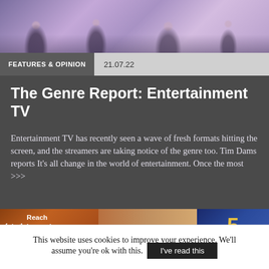[Figure (photo): Entertainment TV show image with people on a decorative purple/lilac floor, seen from above/side angle]
FEATURES & OPINION   21.07.22
The Genre Report: Entertainment TV
Entertainment TV has recently seen a wave of fresh formats hitting the screen, and the streamers are taking notice of the genre too. Tim Dams reports It’s all change in the world of entertainment. Once the most >>>
[Figure (advertisement): Vizrt advertisement banner: 'Reach beyond impossible' on left with orange background, photo in middle, Channel 5 logo on right with blue background]
This website uses cookies to improve your experience. We’ll assume you’re ok with this.
I've read this